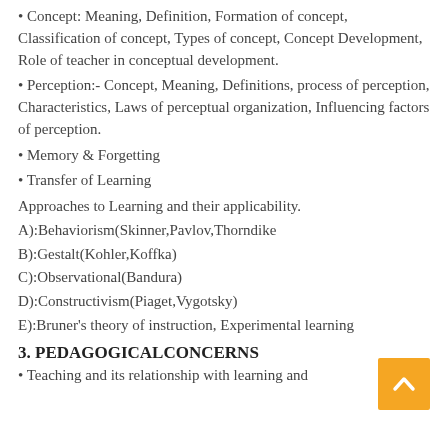Concept: Meaning, Definition, Formation of concept, Classification of concept, Types of concept, Concept Development, Role of teacher in conceptual development.
Perception:- Concept, Meaning, Definitions, process of perception, Characteristics, Laws of perceptual organization, Influencing factors of perception.
Memory & Forgetting
Transfer of Learning
Approaches to Learning and their applicability.
A):Behaviorism(Skinner,Pavlov,Thorndike
B):Gestalt(Kohler,Koffka)
C):Observational(Bandura)
D):Constructivism(Piaget,Vygotsky)
E):Bruner's theory of instruction, Experimental learning
3. PEDAGOGICALCONCERNS
Teaching and its relationship with learning and